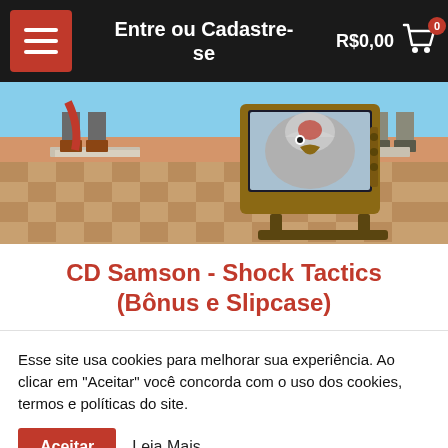Entre ou Cadastre-se  R$0,00  0
[Figure (illustration): Album cover art for Samson - Shock Tactics showing legs in boots standing on stone steps, a vintage wooden television set displaying a vulture/condor head, desert landscape background with checkered tile floor.]
CD Samson - Shock Tactics (Bônus e Slipcase)
Esse site usa cookies para melhorar sua experiência. Ao clicar em "Aceitar" você concorda com o uso dos cookies, termos e políticas do site.
Aceitar
Leia Mais